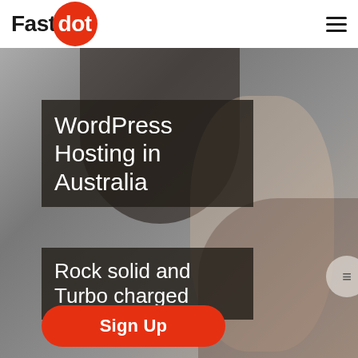[Figure (logo): Fastdot logo: 'Fast' in black bold text followed by 'dot' in white bold text inside a red circle]
[Figure (photo): Blurred background photo of a person in an office/home setting, used as hero background]
WordPress Hosting in Australia
Rock solid and Turbo charged
Sign Up